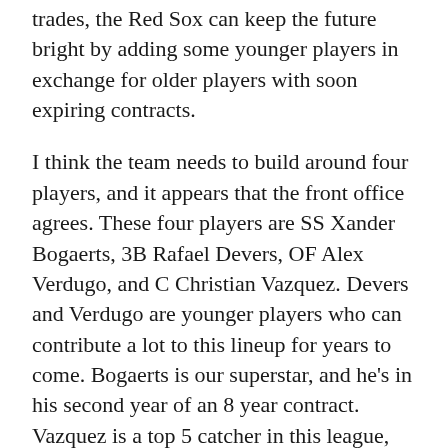trades, the Red Sox can keep the future bright by adding some younger players in exchange for older players with soon expiring contracts.
I think the team needs to build around four players, and it appears that the front office agrees. These four players are SS Xander Bogaerts, 3B Rafael Devers, OF Alex Verdugo, and C Christian Vazquez. Devers and Verdugo are younger players who can contribute a lot to this lineup for years to come. Bogaerts is our superstar, and he’s in his second year of an 8 year contract. Vazquez is a top 5 catcher in this league, and would be hard to replace.
You could make a case to trade OF/DH J.D. Martinez, as he has a player option at the end of